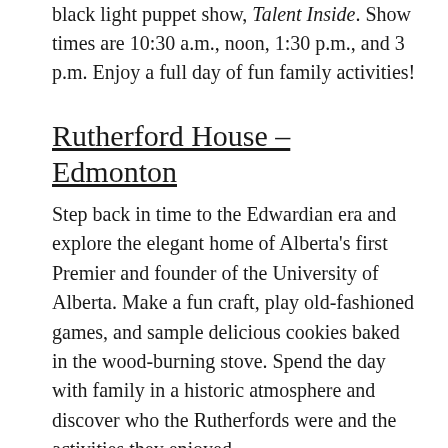black light puppet show, Talent Inside. Show times are 10:30 a.m., noon, 1:30 p.m., and 3 p.m. Enjoy a full day of fun family activities!
Rutherford House – Edmonton
Step back in time to the Edwardian era and explore the elegant home of Alberta's first Premier and founder of the University of Alberta. Make a fun craft, play old-fashioned games, and sample delicious cookies baked in the wood-burning stove. Spend the day with family in a historic atmosphere and discover who the Rutherfords were and the activities they enjoyed.